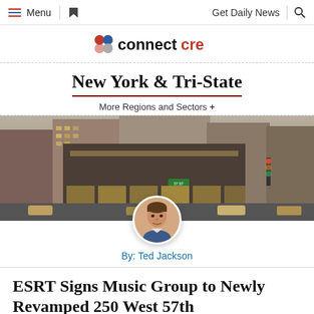Menu | Get Daily News
[Figure (logo): ConnectCRE logo with colored dots and wordmark 'connectcre']
New York & Tri-State
More Regions and Sectors +
[Figure (photo): Street-level photo of a large commercial building at an intersection in New York City, with a circular author avatar of Ted Jackson overlaid at the bottom center]
By: Ted Jackson
ESRT Signs Music Group to Newly Revamped 250 West 57th